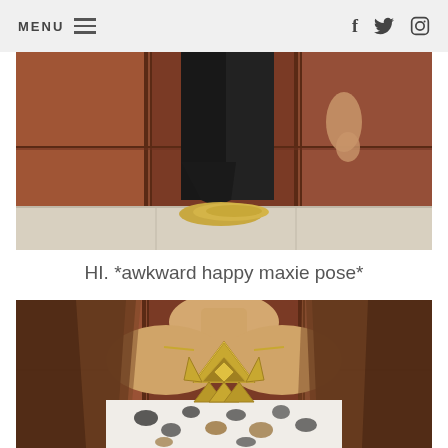MENU  f  twitter  instagram
[Figure (photo): Lower body of a person wearing black leggings and gold flat shoes, standing against a wood-paneled wall with white floor visible]
HI. *awkward happy maxie pose*
[Figure (photo): Upper body of a woman with long brown hair wearing a leopard print top and a gold geometric statement necklace, against a wood-paneled background]